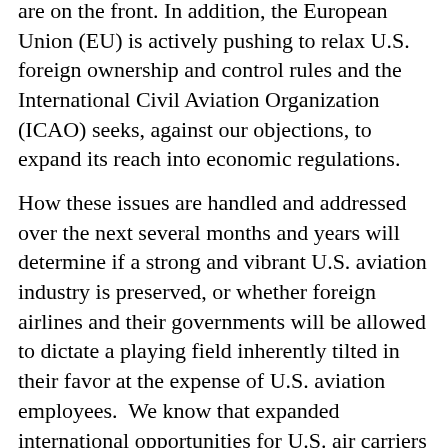are on the front. In addition, the European Union (EU) is actively pushing to relax U.S. foreign ownership and control rules and the International Civil Aviation Organization (ICAO) seeks, against our objections, to expand its reach into economic regulations.
How these issues are handled and addressed over the next several months and years will determine if a strong and vibrant U.S. aviation industry is preserved, or whether foreign airlines and their governments will be allowed to dictate a playing field inherently tilted in their favor at the expense of U.S. aviation employees.  We know that expanded international opportunities for U.S. air carriers can have a positive impact on the jobs and wages of pilots, flight attendants, mechanics and other ground workers and we have supported those types of balanced agreements.  At the same time, we have, and will continue to, reject efforts that seek liberalization at